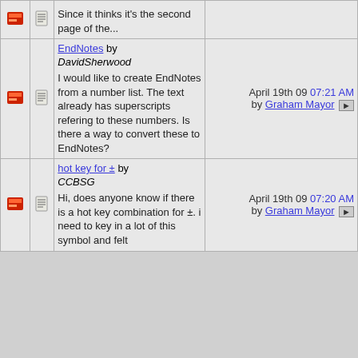Since it thinks it's the second page of the...
EndNotes by DavidSherwood
I would like to create EndNotes from a number list. The text already has superscripts refering to these numbers. Is there a way to convert these to EndNotes?
April 19th 09 07:21 AM by Graham Mayor
hot key for ± by CCBSG
Hi, does anyone know if there is a hot key combination for ±. i need to key in a lot of this symbol and felt
April 19th 09 07:20 AM by Graham Mayor